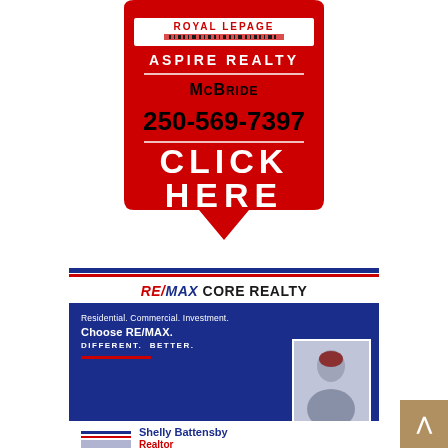[Figure (logo): Royal LePage Aspire Realty balloon-shaped red sign with McBride location, phone number 250-569-7397, and CLICK HERE call to action]
[Figure (infographic): RE/MAX Core Realty advertisement card with text: Residential. Commercial. Investment. Choose RE/MAX. DIFFERENT. BETTER. Agent Shelly Battensby, Realtor, with photo]